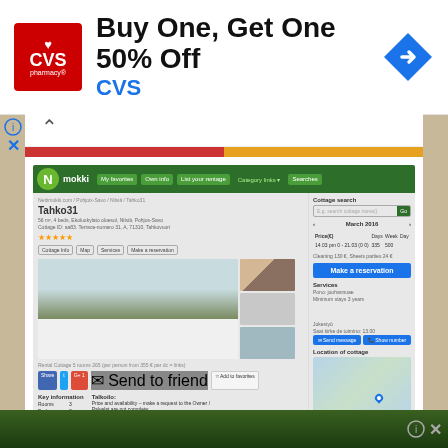[Figure (screenshot): CVS Pharmacy advertisement banner: 'Buy One, Get One 50% Off' with CVS logo (red square with heart and text) on left and navigation/directions icon on right]
[Figure (screenshot): Screenshot of Nettimokki.com cottage rental listing page showing 'Tahko31' property with photos of a wooden cabin in snow, reservation panel, pricing table, map, and key information section]
Tahko 31 suvila
[Figure (photo): Bottom strip showing outdoor/nature scene, partially visible, with advertisement info icon overlay]